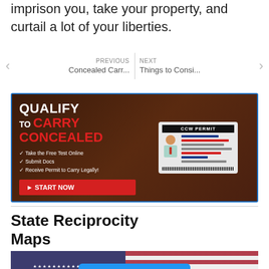imprison you, take your property, and curtail a lot of your liberties.
PREVIOUS Concealed Carr... | NEXT Things to Consi...
[Figure (photo): Advertisement banner for CCW permit qualification. Text: QUALIFY TO CARRY CONCEALED. Checklist: Take the Free Test Online, Submit Docs, Receive Permit to Carry Legally! START NOW button. Shows a CCW Permit card graphic with person illustration.]
State Reciprocity Maps
[Figure (map): Partial US map with American flag background and a blue Get Certified Today button overlay.]